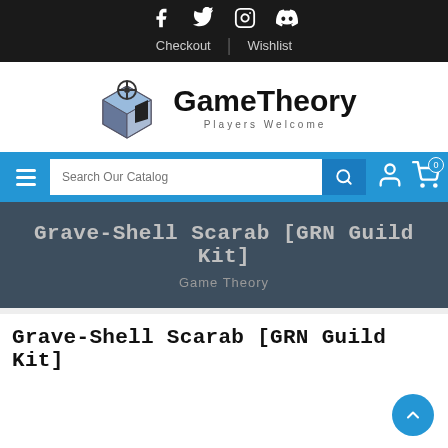Social icons: Facebook, Twitter, Instagram, Discord | Checkout | Wishlist
[Figure (logo): GameTheory logo with a blue cube and steering wheel icon, text 'GameTheory' and subtitle 'Players Welcome']
[Figure (screenshot): Blue navigation bar with hamburger menu, search field 'Search Our Catalog', search button, account icon, and cart icon with 0 items]
Grave-Shell Scarab [GRN Guild Kit]
Game Theory
Grave-Shell Scarab [GRN Guild Kit]